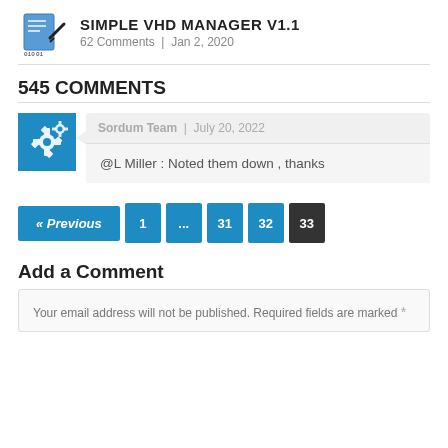SIMPLE VHD MANAGER V1.1 | 62 Comments | Jan 2, 2020
545 COMMENTS
Sordum Team | July 20, 2022
@L Miller : Noted them down , thanks
« Previous  1  ...  31  32  33
Add a Comment
Your email address will not be published. Required fields are marked *